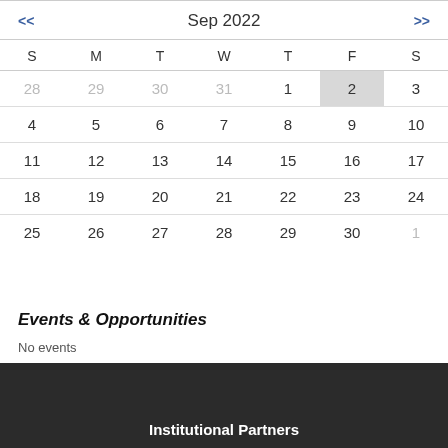| S | M | T | W | T | F | S |
| --- | --- | --- | --- | --- | --- | --- |
| 28 | 29 | 30 | 31 | 1 | 2 | 3 |
| 4 | 5 | 6 | 7 | 8 | 9 | 10 |
| 11 | 12 | 13 | 14 | 15 | 16 | 17 |
| 18 | 19 | 20 | 21 | 22 | 23 | 24 |
| 25 | 26 | 27 | 28 | 29 | 30 | 1 |
Events & Opportunities
No events
Institutional Partners